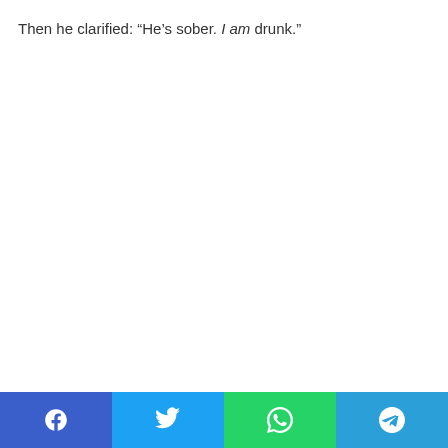Then he clarified: “He’s sober. I am drunk.”
Social share bar: Facebook, Twitter, WhatsApp, Telegram